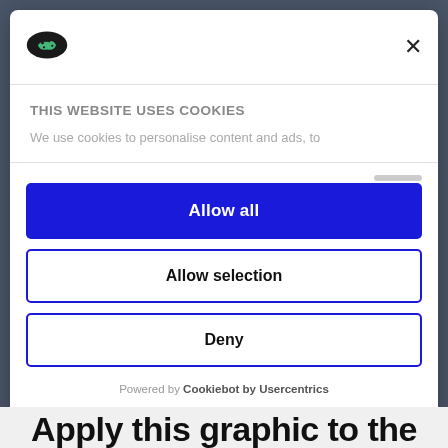[Figure (logo): Cookiebot logo — stylized cookie/shield icon in dark oval shape]
THIS WEBSITE USES COOKIES
We use cookies to personalise content and ads, to
Allow all
Allow selection
Deny
Powered by Cookiebot by Usercentrics
Apply this graphic to the